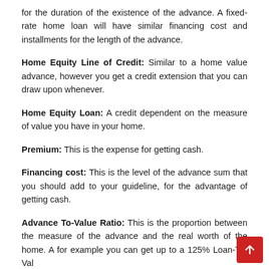for the duration of the existence of the advance. A fixed-rate home loan will have similar financing cost and installments for the length of the advance.
Home Equity Line of Credit: Similar to a home value advance, however you get a credit extension that you can draw upon whenever.
Home Equity Loan: A credit dependent on the measure of value you have in your home.
Premium: This is the expense for getting cash.
Financing cost: This is the level of the advance sum that you should add to your guideline, for the advantage of getting cash.
Advance To-Value Ratio: This is the proportion between the measure of the advance and the real worth of the home. A for example you can get up to a 125% Loan-To-Val